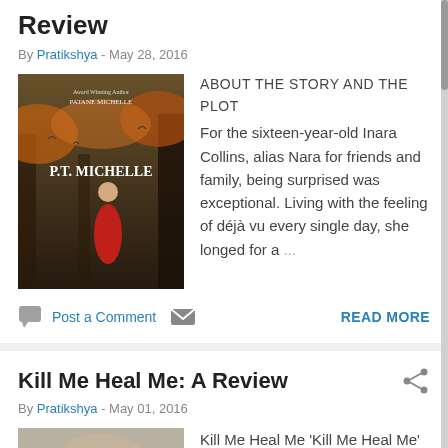Review
By Pratikshya - May 28, 2016
[Figure (photo): Book cover for a P.T. Michelle novel showing a girl in a red dress in a dark forest]
ABOUT THE STORY AND THE PLOT
For the sixteen-year-old Inara Collins, alias Nara for friends and family, being surprised was exceptional. Living with the feeling of déjà vu every single day, she longed for a ...
Post a Comment  READ MORE
Kill Me Heal Me: A Review
By Pratikshya - May 01, 2016
[Figure (photo): Still image from Kill Me Heal Me showing a person lying down]
Kill Me Heal Me 'Kill Me Heal Me' has a great storyline, a plot that doesn't adhere to